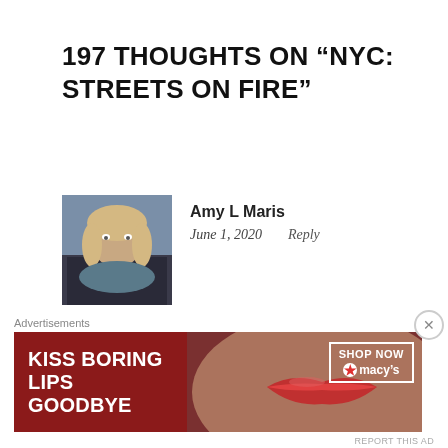197 THOUGHTS ON “NYC: STREETS ON FIRE”
[Figure (photo): Profile photo of Amy L Maris, a woman with blonde hair, seated near a piano]
Amy L Maris
June 1, 2020    Reply
You have encapsulated what needs to happen. I’m glad you’re safe. I’m sorry about your beautiful city. I’ve been listening to the Brooklyn Tabernacle Choir for months as
[Figure (other): Advertisement banner: KISS BORING LIPS GOODBYE with SHOP NOW macys branding on red background with model image]